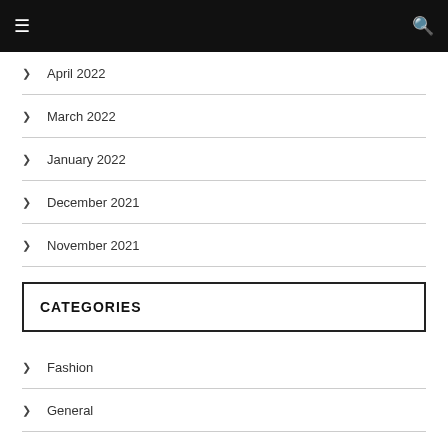Navigation header bar
April 2022
March 2022
January 2022
December 2021
November 2021
CATEGORIES
Fashion
General